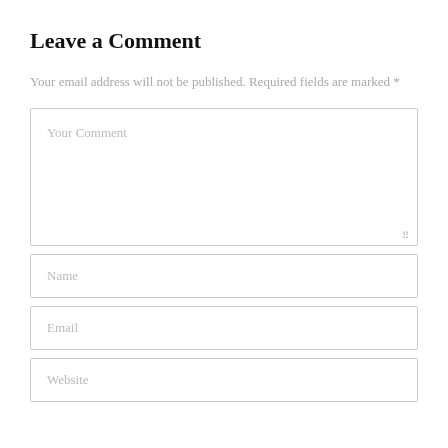Leave a Comment
Your email address will not be published. Required fields are marked *
[Figure (other): Comment form with textarea labeled 'Your Comment', and three input fields labeled 'Name', 'Email', and 'Website']